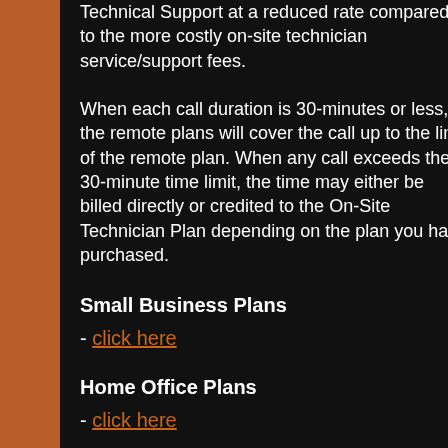Technical Support at a reduced rate compared to the more costly on-site technician service/support fees. When each call duration is 30-minutes or less, the remote plans will cover the call up to the limit of the remote plan. When any call exceeds the 30-minute time limit, the time may either be billed directly or credited to the On-Site Technician Plan depending on the plan you have purchased.
Small Business Plans
- click here
Home Office Plans
- click here